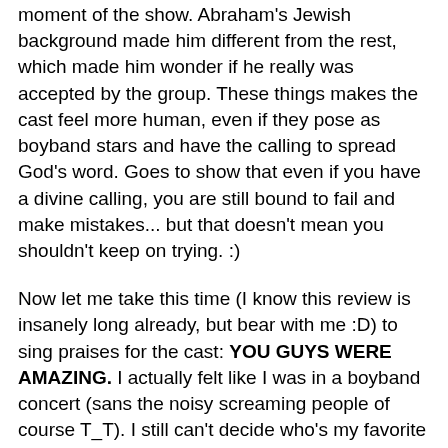moment of the show. Abraham's Jewish background made him different from the rest, which made him wonder if he really was accepted by the group. These things makes the cast feel more human, even if they pose as boyband stars and have the calling to spread God's word. Goes to show that even if you have a divine calling, you are still bound to fail and make mistakes... but that doesn't mean you shouldn't keep on trying. :)
Now let me take this time (I know this review is insanely long already, but bear with me :D) to sing praises for the cast: YOU GUYS WERE AMAZING. I actually felt like I was in a boyband concert (sans the noisy screaming people of course T_T). I still can't decide who's my favorite among them, so for now let me just say I love them all: from PJ/Matthew's truly boyband looks (really, really loved that Something About You serenade — I still wish it was me onstage, ha!), to Red/Mark's gay sensitive moments, Ryu/Luke's outbursts and funny lines (WHAAAAT!? and I drive the van!), Reb/Juan's Spanish accent and cute [continues below]